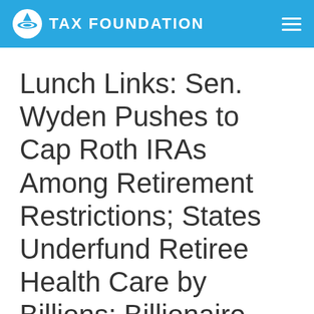TAX FOUNDATION
Lunch Links: Sen. Wyden Pushes to Cap Roth IRAs Among Retirement Restrictions; States Underfund Retiree Health Care by Billions; Billionaire Adelson Wants Vegas to Fund Stadium to